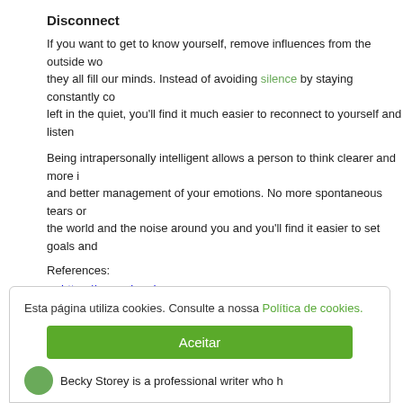Disconnect
If you want to get to know yourself, remove influences from the outside wo... they all fill our minds. Instead of avoiding silence by staying constantly co... left in the quiet, you'll find it much easier to reconnect to yourself and listen
Being intrapersonally intelligent allows a person to think clearer and more i... and better management of your emotions. No more spontaneous tears or... the world and the noise around you and you'll find it easier to set goals and
References:
https://www.niu.edu
https://files.eric.ed.gov
Becky Storey
Esta página utiliza cookies. Consulte a nossa Política de cookies.
Aceitar